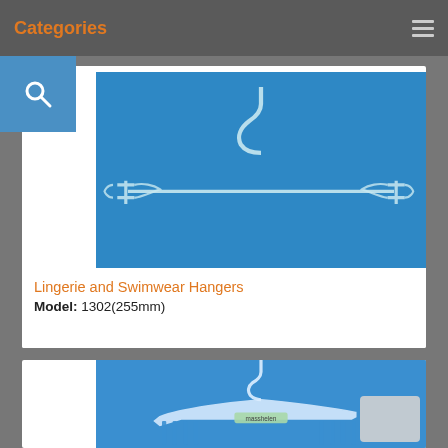Categories
[Figure (photo): Clear plastic/acrylic lingerie and swimwear hanger with clamp-style ends on blue background]
Lingerie and Swimwear Hangers
Model: 1302(255mm)
[Figure (photo): White plastic swimwear/lingerie hanger with comb-like bottom bar on blue background, visible label]